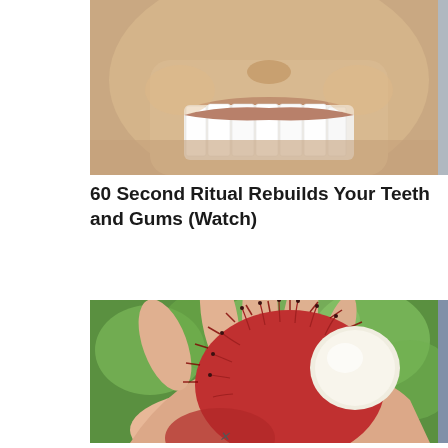[Figure (photo): Close-up photo of a man's mouth showing white teeth and smile, chin visible]
60 Second Ritual Rebuilds Your Teeth and Gums (Watch)
[Figure (photo): Hand holding an open rambutan fruit showing the white interior flesh against a green outdoor background]